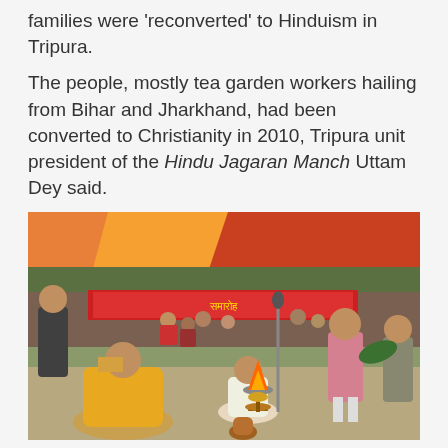families were 'reconverted' to Hinduism in Tripura.
The people, mostly tea garden workers hailing from Bihar and Jharkhand, had been converted to Christianity in 2010, Tripura unit president of the Hindu Jagaran Manch Uttam Dey said.
[Figure (photo): Mass reconversion camp scene with people gathered under a colorful tent canopy. A man in yellow robes sits cross-legged in the foreground next to a fire and a brass lamp. Other people stand and sit in the background near a decorated stage.]
■ Mass reconversion camp organised at Kailashahar | Raju Deb